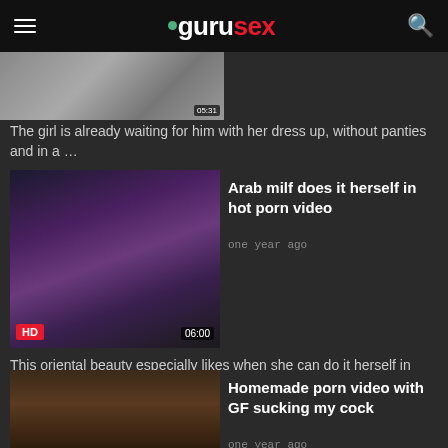gurusex
[Figure (screenshot): Partially visible video thumbnail at top]
The girl is already waiting for him with her dress up, without panties and in a …
[Figure (screenshot): Video thumbnail labeled HD with duration 06:00 showing woman in lingerie]
Arab milf does it herself in hot porn video
one year ago
This oriental beauty especially likes when she can do it herself in front of the …
[Figure (screenshot): Video thumbnail with duration 05:31 showing woman's face]
Homemade porn video with GF sucking my cock
one year ago
I asked my hot arab gf if I could film her sucking my cock, and she loved the …